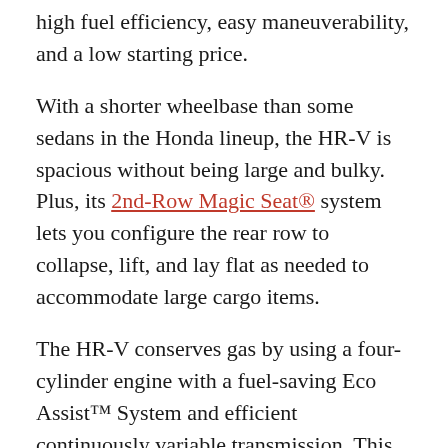high fuel efficiency, easy maneuverability, and a low starting price.
With a shorter wheelbase than some sedans in the Honda lineup, the HR-V is spacious without being large and bulky. Plus, its 2nd-Row Magic Seat® system lets you configure the rear row to collapse, lift, and lay flat as needed to accommodate large cargo items.
The HR-V conserves gas by using a four-cylinder engine with a fuel-saving Eco Assist™ System and efficient continuously variable transmission. This powertrain helps the 2022 Honda HR-V go easy on the gasoline when you're stuck in stop-and-go traffic by the bridge.